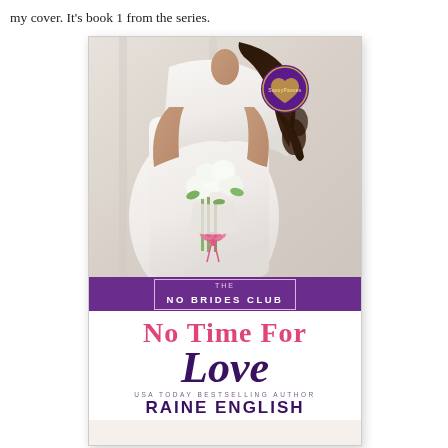my cover. It’s book 1 from the series.
[Figure (illustration): Book cover for 'No Time For Love' by Raine English. Shows a bride in a white dress holding a white floral bouquet with a pink ribbon bow. A purple publisher badge is in the top right corner. A purple banner reads 'THE NO BRIDES CLUB'. The title 'No Time For Love' is shown in pink and dark purple text. Below is 'USA TODAY BESTSELLING AUTHOR' and 'RAINE ENGLISH' in bold dark purple letters.]